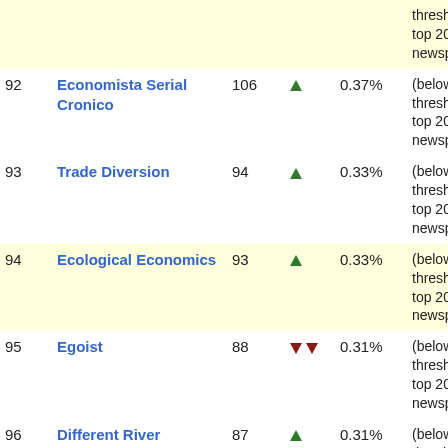| Rank | Name | Score | Trend | Percent | Notes |
| --- | --- | --- | --- | --- | --- |
| 92 | Economista Serial Cronico | 106 | ▲ | 0.37% | (below threshold top 200 newspaper) |
| 93 | Trade Diversion | 94 | ▲ | 0.33% | (below threshold top 200 newspaper) |
| 94 | Ecological Economics | 93 | ▲ | 0.33% | (below threshold top 200 newspaper) |
| 95 | Egoist | 88 | ▼▼ | 0.31% | (below threshold top 200 newspaper) |
| 96 | Different River | 87 | ▲ | 0.31% | (below threshold top 200 newspaper) |
| 97 | Management | 78 | ▼ | 0.27% | (below... |